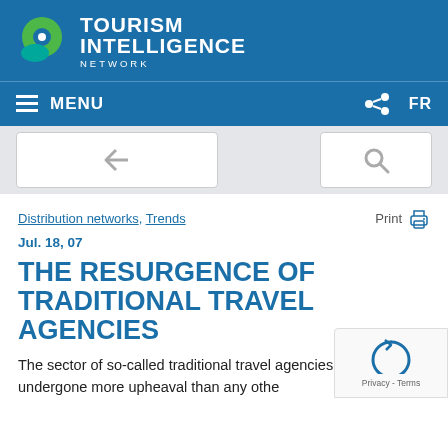[Figure (logo): Tourism Intelligence Network logo with circular green/teal icon and white text reading TOURISM INTELLIGENCE NETWORK on blue background]
≡ MENU    FR
[Figure (screenshot): Toolbar area with back arrow button and search button on grey background]
Distribution networks, Trends    Print
Jul. 18, 07
THE RESURGENCE OF TRADITIONAL TRAVEL AGENCIES
The sector of so-called traditional travel agencies has probably undergone more upheaval than any other over